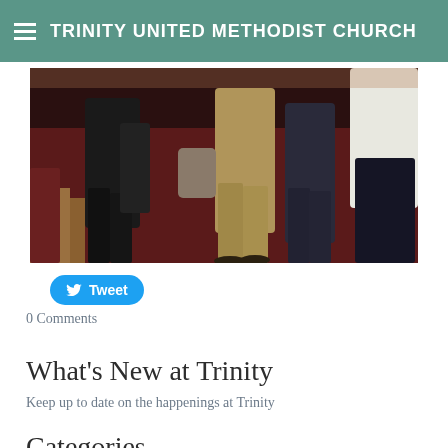TRINITY UNITED METHODIST CHURCH
[Figure (photo): Photo of people standing in a church or event space with dark red carpet and wood flooring, showing lower bodies and legs of multiple attendees.]
[Figure (screenshot): Twitter Tweet button — blue rounded pill button with Twitter bird icon and text 'Tweet']
0 Comments
What's New at Trinity
Keep up to date on the happenings at Trinity
Categories